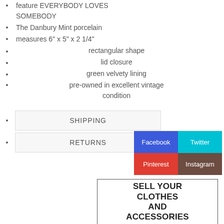feature EVERYBODY LOVES SOMEBODY
The Danbury Mint porcelain
measures 6" x 5" x 2 1/4"
rectangular shape
lid closure
green velvety lining
pre-owned in excellent vintage condition
SHIPPING
RETURNS
Facebook
Twitter
Pinterest
Instagram
SELL YOUR CLOTHES AND ACCESSORIES